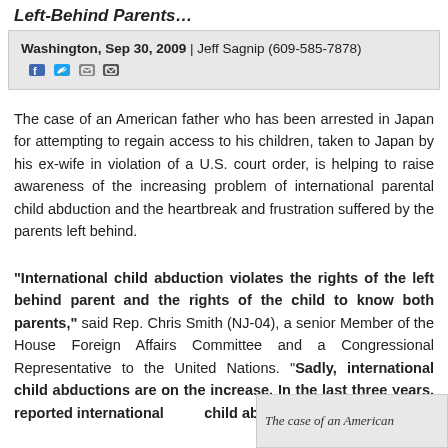Left-Behind Parents…
Washington, Sep 30, 2009 | Jeff Sagnip (609-585-7878)
The case of an American father who has been arrested in Japan for attempting to regain access to his children, taken to Japan by his ex-wife in violation of a U.S. court order, is helping to raise awareness of the increasing problem of international parental child abduction and the heartbreak and frustration suffered by the parents left behind.
“International child abduction violates the rights of the left behind parent and the rights of the child to know both parents,” said Rep. Chris Smith (NJ-04), a senior Member of the House Foreign Affairs Committee and a Congressional Representative to the United Nations. “Sadly, international child abductions are on the increase. In the last three years, reported international child abductions have
The case of an American